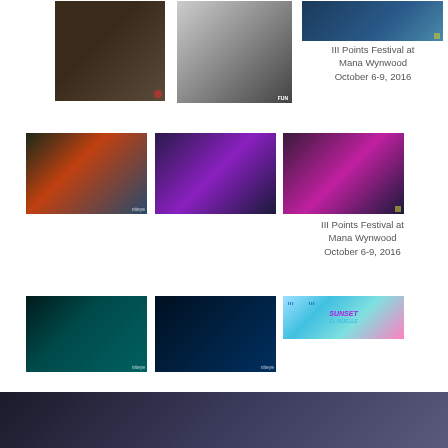[Figure (photo): Person in costume in a store/gallery setting]
[Figure (photo): Black and white photo of performer]
[Figure (photo): Venue with blue lighting]
III Points Festival at Mana Wynwood October 6-9, 2016
[Figure (photo): Crowd at festival with red performer]
[Figure (photo): Performer in purple/blue costume with dots]
[Figure (photo): Panda costume performer with pink lighting]
III Points Festival at Mana Wynwood October 6-9, 2016
[Figure (photo): DJ performing with teal/green lights]
[Figure (photo): DJ at turntables with dark lighting]
[Figure (photo): Sunset el muelle graphic/poster]
[Figure (photo): Bottom row photo partially visible]